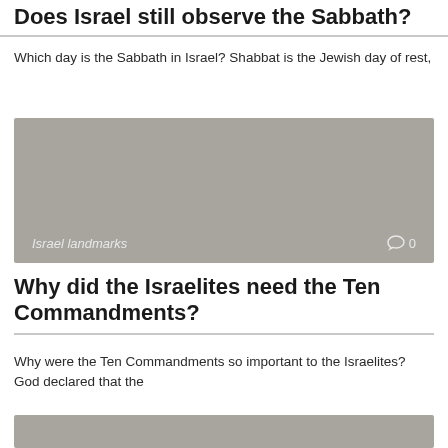Does Israel still observe the Sabbath?
Which day is the Sabbath in Israel? Shabbat is the Jewish day of rest,
[Figure (photo): Gray placeholder image with caption 'Israel landmarks' and comment count '0' at bottom]
Why did the Israelites need the Ten Commandments?
Why were the Ten Commandments so important to the Israelites? God declared that the
[Figure (photo): Gray placeholder image at bottom of page, partially visible]